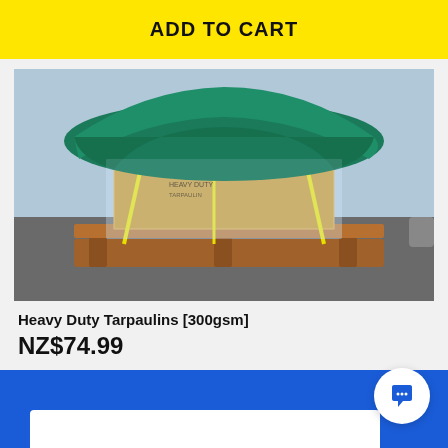ADD TO CART
[Figure (photo): A wooden pallet with cardboard boxes wrapped in plastic wrap, covered with a green heavy-duty tarpaulin, photographed outdoors on asphalt.]
Heavy Duty Tarpaulins [300gsm]
NZ$74.99